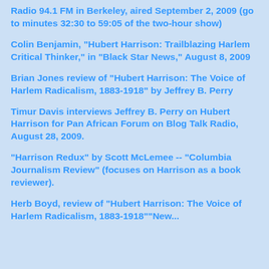Radio 94.1 FM in Berkeley, aired September 2, 2009 (go to minutes 32:30 to 59:05 of the two-hour show)
Colin Benjamin, "Hubert Harrison: Trailblazing Harlem Critical Thinker," in "Black Star News," August 8, 2009
Brian Jones review of "Hubert Harrison: The Voice of Harlem Radicalism, 1883-1918" by Jeffrey B. Perry
Timur Davis interviews Jeffrey B. Perry on Hubert Harrison for Pan African Forum on Blog Talk Radio, August 28, 2009.
"Harrison Redux" by Scott McLemee -- "Columbia Journalism Review" (focuses on Harrison as a book reviewer).
Herb Boyd, review of "Hubert Harrison: The Voice of Harlem Radicalism, 1883-1918""New ...